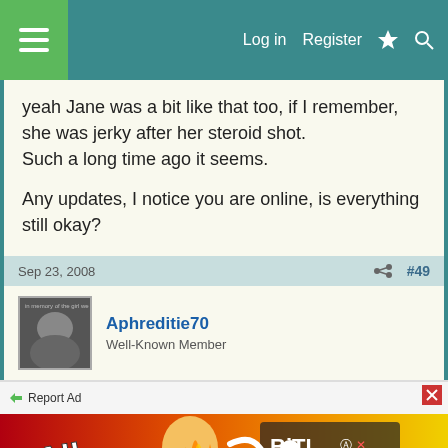Log in  Register
yeah Jane was a bit like that too, if I remember, she was jerky after her steroid shot.
Such a long time ago it seems.

Any updates, I notice you are online, is everything still okay?
Sep 23, 2008  #49
Aphreditie70
Well-Known Member
Report Ad